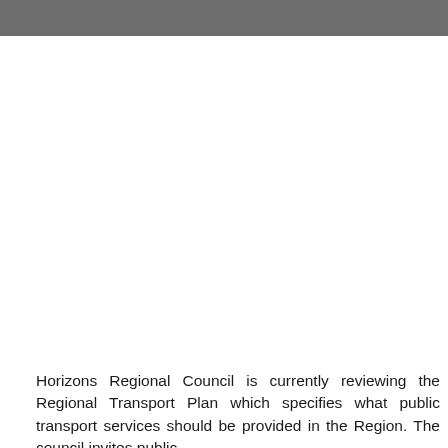Horizons Regional Council is currently reviewing the Regional Transport Plan which specifies what public transport services should be provided in the Region. The council invites public